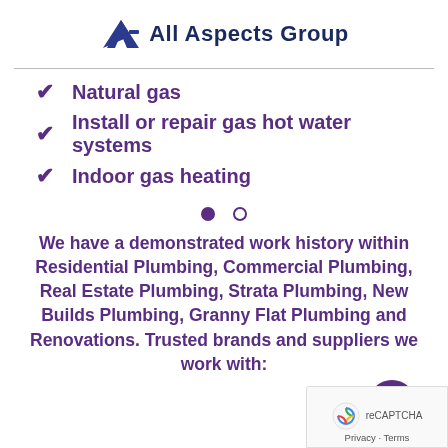All Aspects Group
Natural gas
Install or repair gas hot water systems
Indoor gas heating
We have a demonstrated work history within Residential Plumbing, Commercial Plumbing, Real Estate Plumbing, Strata Plumbing, New Builds Plumbing, Granny Flat Plumbing and Renovations. Trusted brands and suppliers we work with: